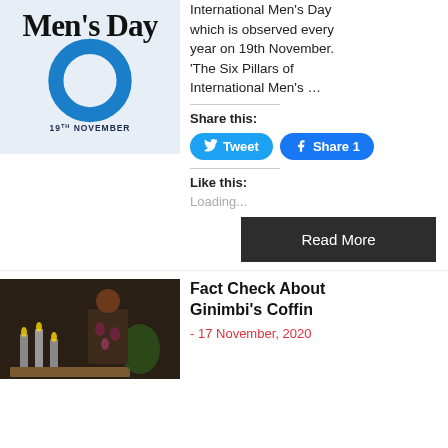[Figure (illustration): International Men's Day logo with blue circle and date 19th November]
International Men's Day which is observed every year on 19th November. 'The Six Pillars of International Men's …
Share this:
Tweet  Share 1
Like this:
Loading...
Read More
[Figure (photo): Dark photo showing coffin display with candles and flowers]
Fact Check About Ginimbi's Coffin
- 17 November, 2020